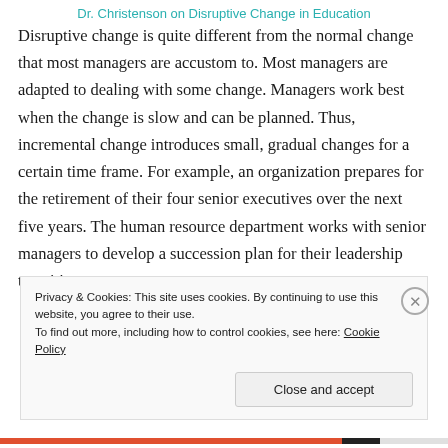Dr. Christenson on Disruptive Change in Education
Disruptive change is quite different from the normal change that most managers are accustom to. Most managers are adapted to dealing with some change. Managers work best when the change is slow and can be planned. Thus, incremental change introduces small, gradual changes for a certain time frame. For example, an organization prepares for the retirement of their four senior executives over the next five years. The human resource department works with senior managers to develop a succession plan for their leadership transition.
Privacy & Cookies: This site uses cookies. By continuing to use this website, you agree to their use.
To find out more, including how to control cookies, see here: Cookie Policy
Close and accept